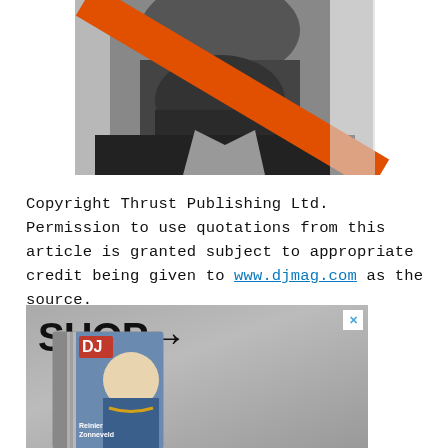[Figure (photo): Black and white photograph of a bearded man with an orange diagonal stripe/cross overlaid, partially visible at top of page]
Copyright Thrust Publishing Ltd. Permission to use quotations from this article is granted subject to appropriate credit being given to www.djmag.com as the source.
[Figure (advertisement): DJ Mag shop advertisement showing 'SHOP→' text in large bold font with a DJ Mag magazine cover featuring Reinier Zonneveld, set against a grey gradient background. Has a close (×) button in top right corner.]